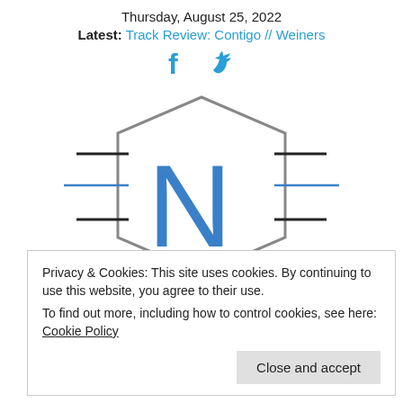Thursday, August 25, 2022
Latest: Track Review: Contigo // Weiners
[Figure (logo): Facebook and Twitter social media icons in blue]
[Figure (logo): Hexagonal logo with the letter N inside, gray hexagon outline with black and blue horizontal lines extending from the sides, blue letter N in the center]
Privacy & Cookies: This site uses cookies. By continuing to use this website, you agree to their use.
To find out more, including how to control cookies, see here: Cookie Policy
Close and accept